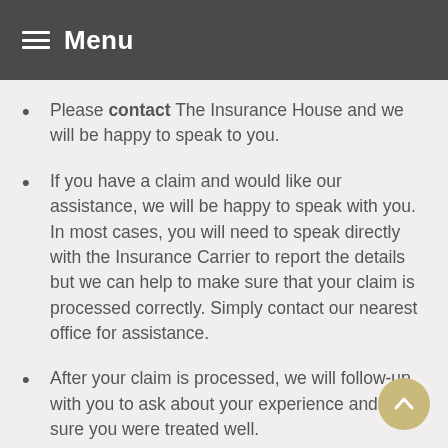Menu
Please contact The Insurance House and we will be happy to speak to you.
If you have a claim and would like our assistance, we will be happy to speak with you. In most cases, you will need to speak directly with the Insurance Carrier to report the details but we can help to make sure that your claim is processed correctly. Simply contact our nearest office for assistance.
After your claim is processed, we will follow-up with you to ask about your experience and make sure you were treated well.
If think you’re not being treated fairly, need some help along the way or want to share your positive experience with us, just let us know! We’re always